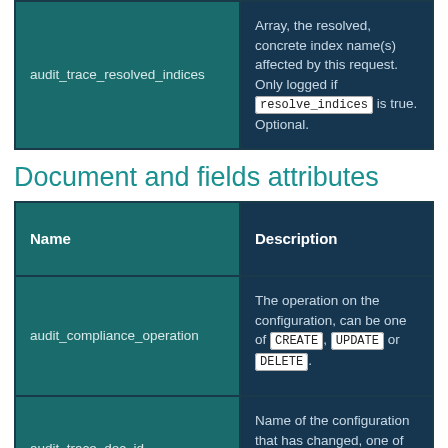| Name | Description |
| --- | --- |
| audit_trace_resolved_indices | Array, the resolved, concrete index name(s) affected by this request. Only logged if resolve_indices is true. Optional. |
Document and fields attributes
| Name | Description |
| --- | --- |
| audit_compliance_operation | The operation on the configuration, can be one of CREATE, UPDATE or DELETE. |
| audit_trace_doc_id | Name of the configuration that has changed, one of internalusers, roles... |